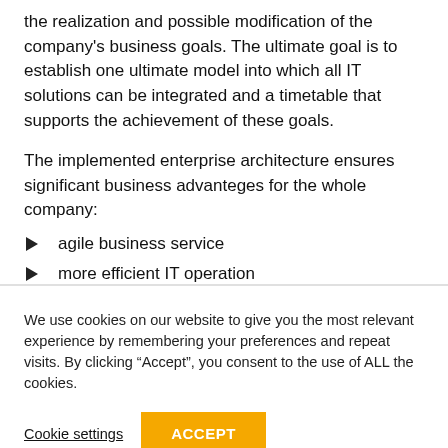the realization and possible modification of the company's business goals. The ultimate goal is to establish one ultimate model into which all IT solutions can be integrated and a timetable that supports the achievement of these goals.
The implemented enterprise architecture ensures significant business advanteges for the whole company:
agile business service
more efficient IT operation
We use cookies on our website to give you the most relevant experience by remembering your preferences and repeat visits. By clicking “Accept”, you consent to the use of ALL the cookies.
Cookie settings
ACCEPT